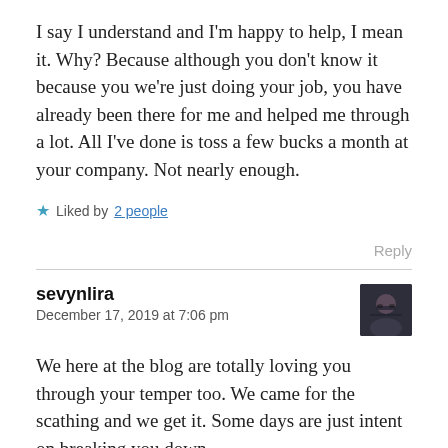I say I understand and I'm happy to help, I mean it. Why? Because although you don't know it because you we're just doing your job, you have already been there for me and helped me through a lot. All I've done is toss a few bucks a month at your company. Not nearly enough.
★ Liked by 2 people
Reply
sevynlira
December 17, 2019 at 7:06 pm
[Figure (photo): Small avatar photo of sevynlira, a person with glasses]
We here at the blog are totally loving you through your temper too. We came for the scathing and we get it. Some days are just intent on breaking you down